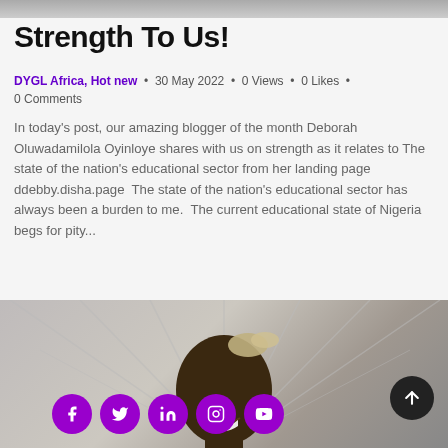Strength To Us!
DYGL Africa, Hot new  •  30 May 2022  •  0 Views  •  0 Likes  •  0 Comments
In today's post, our amazing blogger of the month Deborah Oluwadamilola Oyinloye shares with us on strength as it relates to The state of the nation's educational sector from her landing page ddebby.disha.page  The state of the nation's educational sector has always been a burden to me. The current educational state of Nigeria begs for pity...
→
[Figure (photo): Photo of a woman with hair accessory, social media icons below (Facebook, Twitter, LinkedIn, Instagram, YouTube), scroll-to-top button]